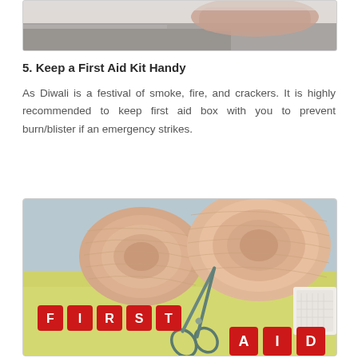[Figure (photo): Partial photo of a person resting, cropped showing bedding/sheets at the top of the page]
5. Keep a First Aid Kit Handy
As Diwali is a festival of smoke, fire, and crackers. It is highly recommended to keep first aid box with you to prevent burn/blister if an emergency strikes.
[Figure (photo): Photo of a first aid kit showing rolled bandages, scissors, gauze pads, and red letter tiles spelling FIRST AID on a yellow-green surface against a blue background]